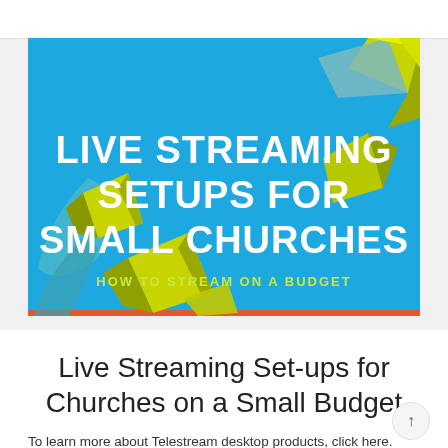[Figure (illustration): Banner image with bright blue background and geometric 3D diamond/polygon shapes in yellow-green and teal colors. White bold text reads 'LIVE STREAMING SETUPS FOR SMALL CHURCHES' with subtitle 'HOW TO STREAM ON A BUDGET'. Orange accent bar at bottom.]
Live Streaming Set-ups for Churches on a Small Budget
To learn more about Telestream desktop products, click here. With the